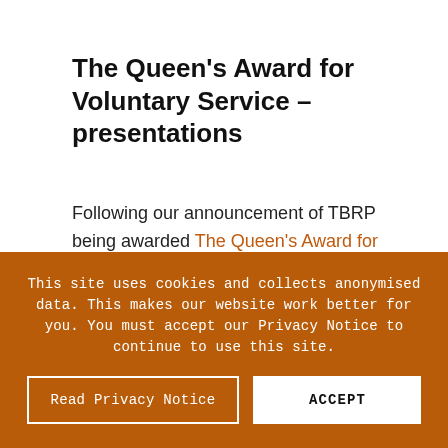The Queen's Award for Voluntary Service – presentations
Following our announcement of TBRP being awarded The Queen's Award for Voluntary Service in June, we were recently honoured to have had not one, but two visits and presentations to receive the award crystal and certificate. Ed Anderson, HM Lord-Lieutenant of West Yorkshire presented the "special edition" crystal [a slightly modified version with the words 'with special recognition – Covid 19']. It was an honour to meet Ed
This site uses cookies and collects anonymised data. This makes our website work better for you. You must accept our Privacy Notice to continue to use this site.
Read Privacy Notice | ACCEPT